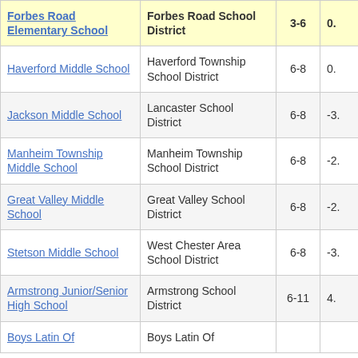| School | District | Grades | Score |
| --- | --- | --- | --- |
| Forbes Road Elementary School | Forbes Road School District | 3-6 | 0. |
| Haverford Middle School | Haverford Township School District | 6-8 | 0. |
| Jackson Middle School | Lancaster School District | 6-8 | -3. |
| Manheim Township Middle School | Manheim Township School District | 6-8 | -2. |
| Great Valley Middle School | Great Valley School District | 6-8 | -2. |
| Stetson Middle School | West Chester Area School District | 6-8 | -3. |
| Armstrong Junior/Senior High School | Armstrong School District | 6-11 | 4. |
| Boys Latin Of | Boys Latin Of |  |  |